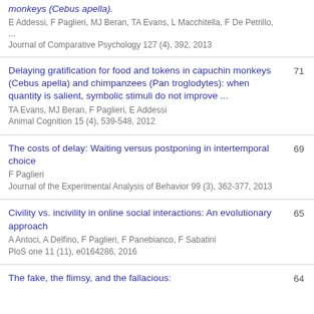monkeys (Cebus apella).
E Addessi, F Paglieri, MJ Beran, TA Evans, L Macchitella, F De Petrillo, ...
Journal of Comparative Psychology 127 (4), 392, 2013
Delaying gratification for food and tokens in capuchin monkeys (Cebus apella) and chimpanzees (Pan troglodytes): when quantity is salient, symbolic stimuli do not improve ...
TA Evans, MJ Beran, F Paglieri, E Addessi
Animal Cognition 15 (4), 539-548, 2012
71
The costs of delay: Waiting versus postponing in intertemporal choice
F Paglieri
Journal of the Experimental Analysis of Behavior 99 (3), 362-377, 2013
69
Civility vs. incivility in online social interactions: An evolutionary approach
A Antoci, A Delfino, F Paglieri, F Panebianco, F Sabatini
PloS one 11 (11), e0164286, 2016
65
The fake, the flimsy, and the fallacious:
64